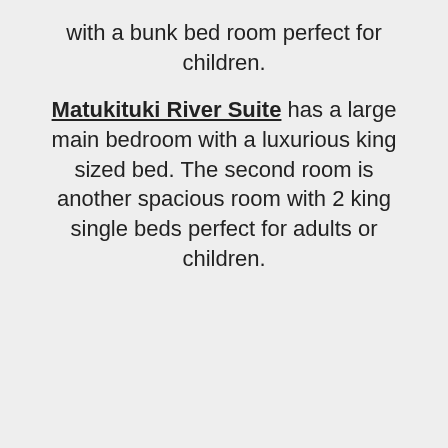with a bunk bed room perfect for children.
Matukituki River Suite has a large main bedroom with a luxurious king sized bed. The second room is another spacious room with 2 king single beds perfect for adults or children.